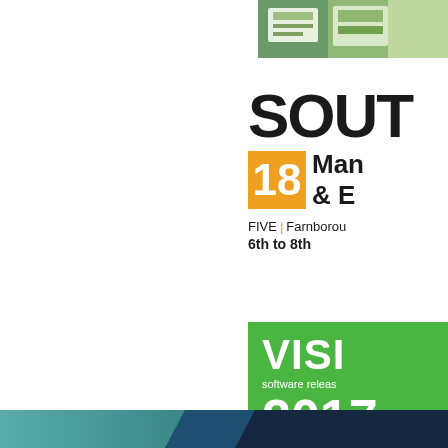[Figure (photo): Partially visible image at top right showing green/nature scene with signage]
[Figure (logo): SOUTH Manufacturing & Electronics event logo with orange 18 box, FIVE Farnborough venue, 6th to 8th dates]
[Figure (logo): VISI software release 2017 logo on green background]
[Figure (illustration): Bottom teal and dark blue gradient bar with geometric accent shapes]